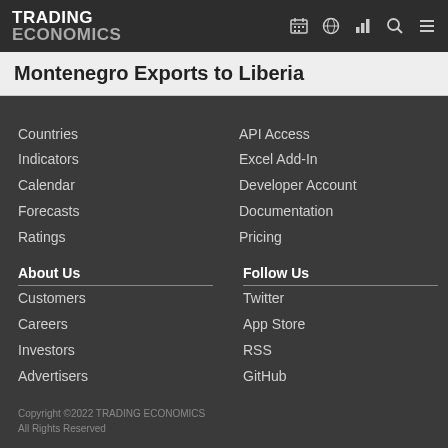TRADING ECONOMICS
Montenegro Exports to Liberia
Countries
API Access
Indicators
Excel Add-In
Calendar
Developer Account
Forecasts
Documentation
Ratings
Pricing
About Us
Follow Us
Customers
Twitter
Careers
App Store
Investors
RSS
Advertisers
GitHub
About us
Privacy
Copyright ©2022 TRADING ECONOMICS
All Rights Reserved